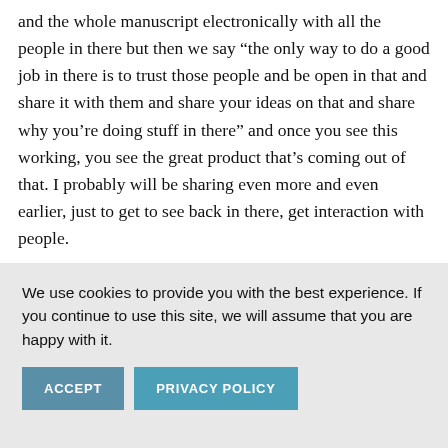and the whole manuscript electronically with all the people in there but then we say “the only way to do a good job in there is to trust those people and be open in that and share it with them and share your ideas on that and share why you’re doing stuff in there” and once you see this working, you see the great product that’s coming out of that. I probably will be sharing even more and even earlier, just to get to see back in there, get interaction with people.
Lisette Sutherland: It’s interesting because we
We use cookies to provide you with the best experience. If you continue to use this site, we will assume that you are happy with it.
ACCEPT
PRIVACY POLICY